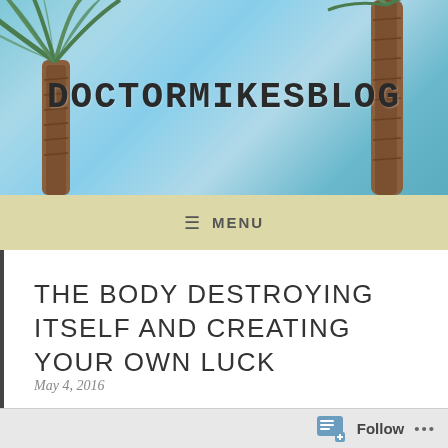[Figure (photo): Blog header with palm trees and blue sky background, showing the blog title DOCTORMIKESBLOG in bold monospace font]
≡ MENU
THE BODY DESTROYING ITSELF AND CREATING YOUR OWN LUCK
May 4, 2016
Follow ...